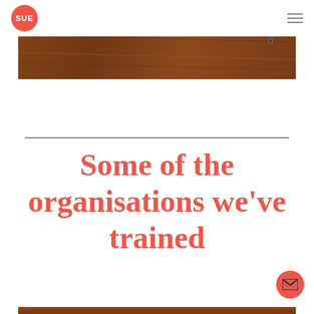SUE
[Figure (photo): A partial photo strip showing a wooden table surface, visible at top of page]
Some of the organisations we've trained
[Figure (photo): Bottom edge of a photo strip at the very bottom of the page]